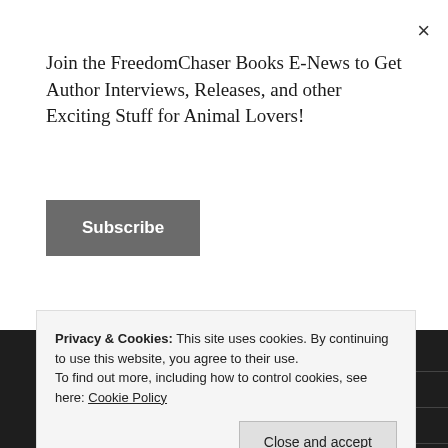×
Join the FreedomChaser Books E-News to Get Author Interviews, Releases, and other Exciting Stuff for Animal Lovers!
Subscribe
prosocial movement
Pumpkin
puppy mill
Privacy & Cookies: This site uses cookies. By continuing to use this website, you agree to their use. To find out more, including how to control cookies, see here: Cookie Policy
Close and accept